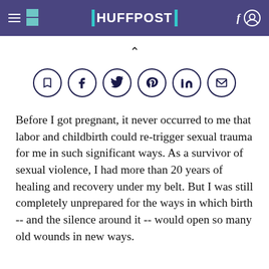HUFFPOST
[Figure (infographic): Social sharing icons in circles: bookmark, Facebook, Twitter, Pinterest, LinkedIn, email]
Before I got pregnant, it never occurred to me that labor and childbirth could re-trigger sexual trauma for me in such significant ways. As a survivor of sexual violence, I had more than 20 years of healing and recovery under my belt. But I was still completely unprepared for the ways in which birth -- and the silence around it -- would open so many old wounds in new ways.